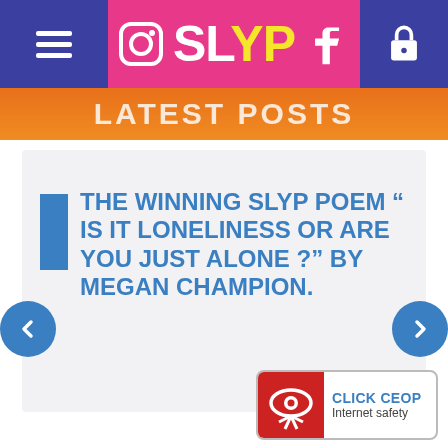SLYP
LATEST POSTS
THE WINNING SLYP POEM " IS IT LONELINESS OR ARE YOU JUST ALONE ?" BY MEGAN CHAMPION.
[Figure (logo): CLICK CEOP Internet safety badge]